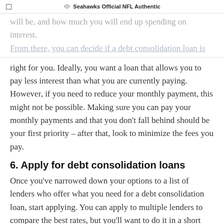□  🏈 Seahawks Official NFL Authentic
will be, and how much you will end up spending on interest.
From there, you can decide if a debt consolidation loan is right for you. Ideally, you want a loan that allows you to pay less interest than what you are currently paying. However, if you need to reduce your monthly payment, this might not be possible. Making sure you can pay your monthly payments and that you don't fall behind should be your first priority – after that, look to minimize the fees you pay.
6. Apply for debt consolidation loans
Once you've narrowed down your options to a list of lenders who offer what you need for a debt consolidation loan, start applying. You can apply to multiple lenders to compare the best rates, but you'll want to do it in a short period of time.
Several short-term loan applications are usually consolidated into one application on your credit report, which will